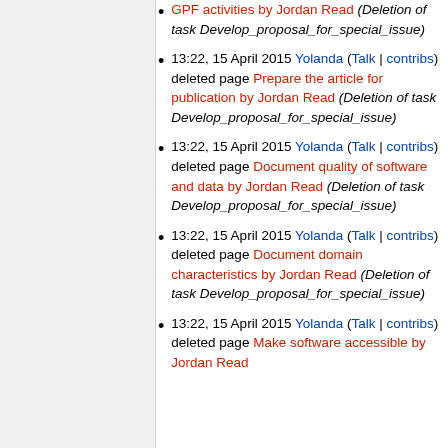13:22, 15 April 2015 Yolanda (Talk | contribs) deleted page GPF activities by Jordan Read (Deletion of task Develop_proposal_for_special_issue)
13:22, 15 April 2015 Yolanda (Talk | contribs) deleted page Prepare the article for publication by Jordan Read (Deletion of task Develop_proposal_for_special_issue)
13:22, 15 April 2015 Yolanda (Talk | contribs) deleted page Document quality of software and data by Jordan Read (Deletion of task Develop_proposal_for_special_issue)
13:22, 15 April 2015 Yolanda (Talk | contribs) deleted page Document domain characteristics by Jordan Read (Deletion of task Develop_proposal_for_special_issue)
13:22, 15 April 2015 Yolanda (Talk | contribs) deleted page Make software accessible by Jordan Read